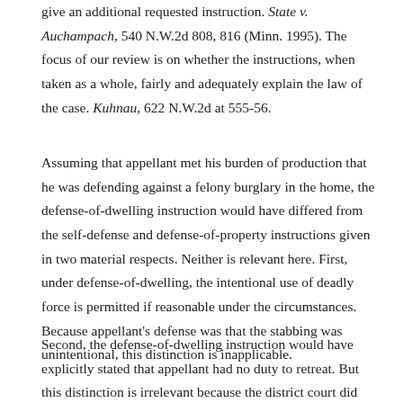give an additional requested instruction. State v. Auchampach, 540 N.W.2d 808, 816 (Minn. 1995). The focus of our review is on whether the instructions, when taken as a whole, fairly and adequately explain the law of the case. Kuhnau, 622 N.W.2d at 555-56.
Assuming that appellant met his burden of production that he was defending against a felony burglary in the home, the defense-of-dwelling instruction would have differed from the self-defense and defense-of-property instructions given in two material respects. Neither is relevant here. First, under defense-of-dwelling, the intentional use of deadly force is permitted if reasonable under the circumstances. Because appellant's defense was that the stabbing was unintentional, this distinction is inapplicable.
Second, the defense-of-dwelling instruction would have explicitly stated that appellant had no duty to retreat. But this distinction is irrelevant because the district court did not include duty-to-retreat language in the self-defense instruction. Therefore, the jury was